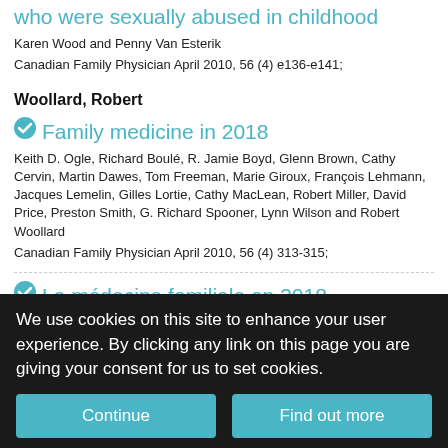who were sexually abused in childhood
Karen Wood and Penny Van Esterik
Canadian Family Physician April 2010, 56 (4) e136-e141;
Woollard, Robert
Family medicine in 2018
Keith D. Ogle, Richard Boulé, R. Jamie Boyd, Glenn Brown, Cathy Cervin, Martin Dawes, Tom Freeman, Marie Giroux, François Lehmann, Jacques Lemelin, Gilles Lortie, Cathy MacLean, Robert Miller, David Price, Preston Smith, G. Richard Spooner, Lynn Wilson and Robert Woollard
Canadian Family Physician April 2010, 56 (4) 313-315;
La médecine familiale en 2018
Keith D. Ogle, Richard Boulé, R. Jamie Boyd, Glenn Brown, Cathy
We use cookies on this site to enhance your user experience. By clicking any link on this page you are giving your consent for us to set cookies.